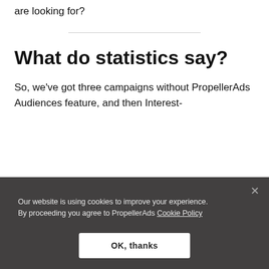are looking for?
What do statistics say?
So, we've got three campaigns without PropellerAds Audiences feature, and then Interest-
Our website is using cookies to improve your experience. By proceeding you agree to PropellerAds Cookie Policy
OK, thanks